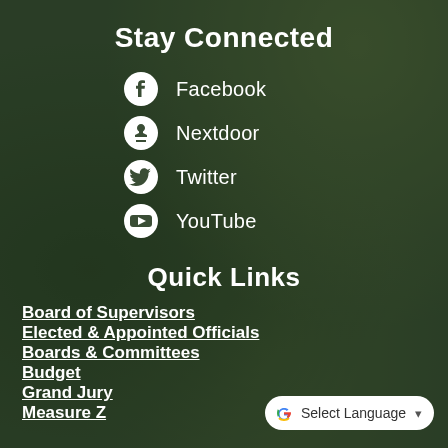Stay Connected
Facebook
Nextdoor
Twitter
YouTube
Quick Links
Board of Supervisors
Elected & Appointed Officials
Boards & Committees
Budget
Grand Jury
Measure Z
Select Language